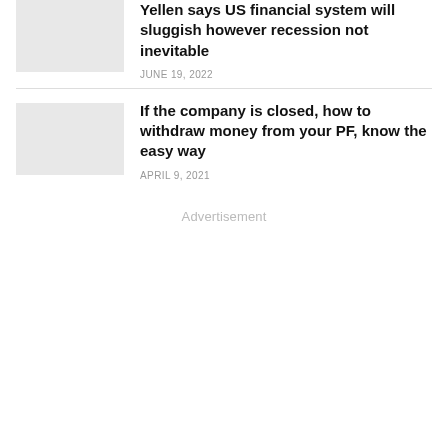Yellen says US financial system will sluggish however recession not inevitable
JUNE 19, 2022
If the company is closed, how to withdraw money from your PF, know the easy way
APRIL 9, 2021
Advertisement